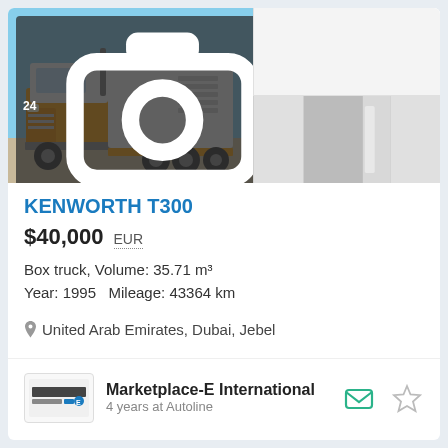[Figure (photo): Orange and white Kenworth T300 box truck parked outdoors with a large white cargo box on the back. Photo badge shows '24' with a camera icon.]
[Figure (photo): Thumbnail: blank white/light gray image (vehicle interior or secondary view)]
[Figure (photo): Thumbnail: partial view of what appears to be vehicle interior/door area]
KENWORTH T300
$40,000   EUR
Box truck, Volume: 35.71 m³
Year: 1995   Mileage: 43364 km
United Arab Emirates, Dubai, Jebel
Marketplace-E International
4 years at Autoline